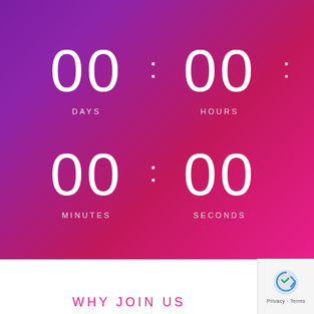[Figure (infographic): Countdown timer showing 00 DAYS : 00 HOURS : 00 MINUTES : 00 SECONDS on a purple-to-pink gradient background]
WHY JOIN US